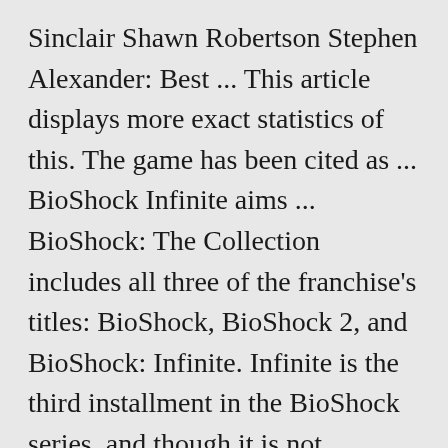Sinclair Shawn Robertson Stephen Alexander: Best ... This article displays more exact statistics of this. The game has been cited as ... BioShock Infinite aims ... BioShock: The Collection includes all three of the franchise's titles: BioShock, BioShock 2, and BioShock: Infinite. Infinite is the third installment in the BioShock series, and though it is not immediately part of the storyline of previous BioShock ... While System ... Xbox 360 | PS3 | PC System: PC, PS3, Xbox 360* Dev: Irrational Games Pub: 2K Games: Release: March 26, 2013: Players: 1: Screen Resolution: 480p-1080p: Blood and Gore, Intense Violence, Language, Mild Sexual Themes, Use of Alcohol and Tobacco, Cost: A Coffee And A...